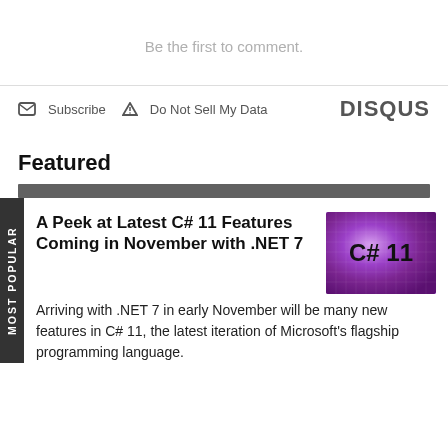Be the first to comment.
✉ Subscribe ▲ Do Not Sell My Data   DISQUS
Featured
MOST POPULAR
A Peek at Latest C# 11 Features Coming in November with .NET 7
[Figure (photo): Thumbnail image with purple gradient background showing text 'C# 11']
Arriving with .NET 7 in early November will be many new features in C# 11, the latest iteration of Microsoft's flagship programming language.